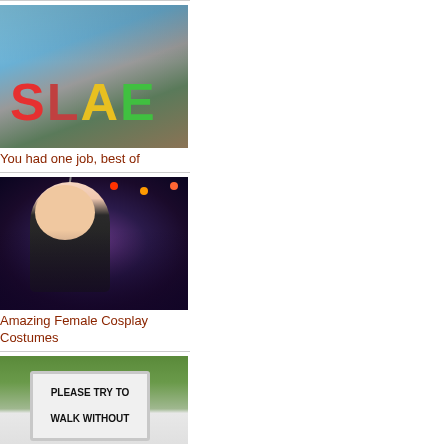[Figure (photo): Shop window with large colorful letters spelling SLAE (meant to be SALE), with letters in red, yellow, and green on a glass storefront]
You had one job, best of
[Figure (photo): Woman in cosplay costume with antenna headpiece at a nighttime outdoor event with crowd and fireworks]
Amazing Female Cosplay Costumes
[Figure (photo): Outdoor sign reading PLEASE TRY TO WALK WITHOUT amid green trees background]